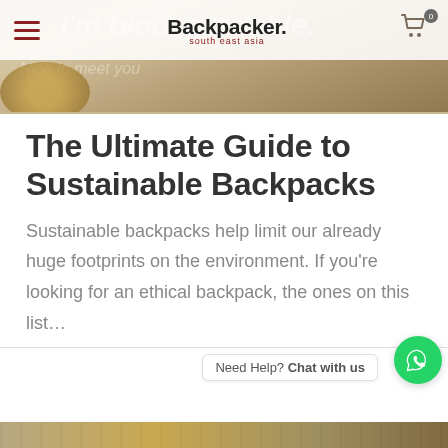[Figure (screenshot): Website header banner with blurred biodegradable text background, Backpacker South East Asia logo in navigation bar, hamburger menu icon on left, shopping cart with 0 badge on right]
The Ultimate Guide to Sustainable Backpacks
Sustainable backpacks help limit our already huge footprints on the environment. If you're looking for an ethical backpack, the ones on this list…
Need Help? Chat with us
[Figure (photo): Partial photo strip at bottom of page showing outdoor/travel scene]